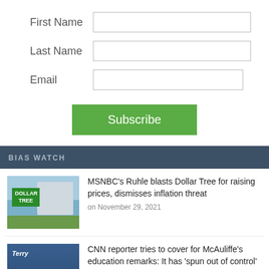First Name
Last Name
Email
Subscribe
BIAS WATCH
MSNBC's Ruhle blasts Dollar Tree for raising prices, dismisses inflation threat
on November 29, 2021
CNN reporter tries to cover for McAuliffe's education remarks: It has 'spun out of control'